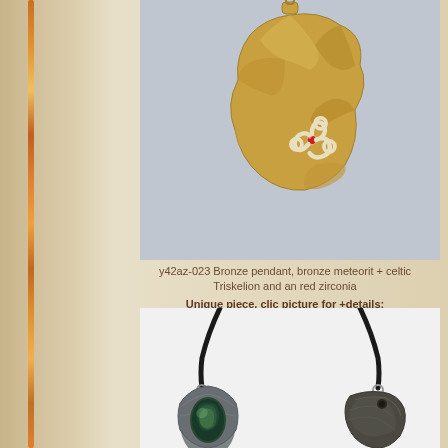[Figure (photo): Close-up photo of a bronze pendant featuring a bronze meteorite with a celtic Triskelion design and a red zirconia gemstone, on a blue-grey background]
y42az-023 Bronze pendant, bronze meteorit + celtic Triskelion and an red zirconia
Unique piece, clic picture for +details:
[Figure (photo): Photo of two metallic pendants on black cord necklaces; left pendant holds a green labradorite stone in a textured silver setting, right pendant is a dark silver sculptural piece]